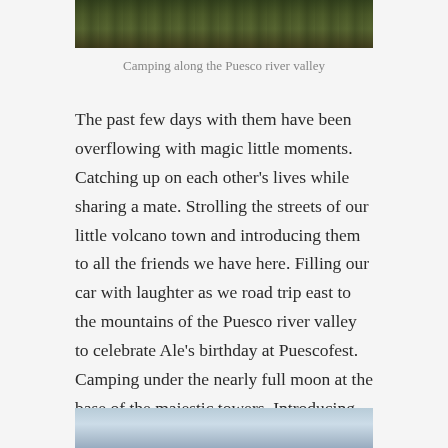[Figure (photo): Top portion of a photo showing camping scene along Puesco river valley, green grass and dark rocky/wooded background visible]
Camping along the Puesco river valley
The past few days with them have been overflowing with magic little moments. Catching up on each other's lives while sharing a mate. Strolling the streets of our little volcano town and introducing them to all the friends we have here. Filling our car with laughter as we road trip east to the mountains of the Puesco river valley to celebrate Ale's birthday at Puescofest. Camping under the nearly full moon at the base of the majestic towers. Introducing them to our ancient forests, lakes and volcanos.
[Figure (photo): Bottom portion of a photo showing a sky scene, blue-grey cloudy sky, beginning of another photo]